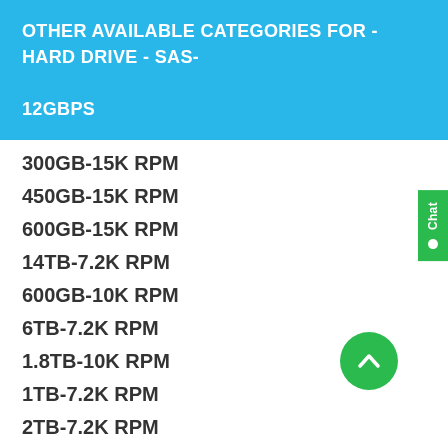OTHER AVAILABLE CATEGORIES FOR - HARD DRIVE - SAS- 12GBPS
300GB-15K RPM
450GB-15K RPM
600GB-15K RPM
14TB-7.2K RPM
600GB-10K RPM
6TB-7.2K RPM
1.8TB-10K RPM
1TB-7.2K RPM
2TB-7.2K RPM
4TB-7.2K RPM